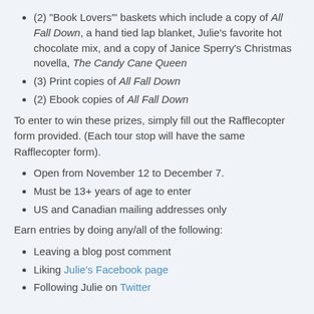(2) "Book Lovers'" baskets which include a copy of All Fall Down, a hand tied lap blanket, Julie's favorite hot chocolate mix, and a copy of Janice Sperry's Christmas novella, The Candy Cane Queen
(3) Print copies of All Fall Down
(2) Ebook copies of All Fall Down
To enter to win these prizes, simply fill out the Rafflecopter form provided. (Each tour stop will have the same Rafflecopter form).
Open from November 12 to December 7.
Must be 13+ years of age to enter
US and Canadian mailing addresses only
Earn entries by doing any/all of the following:
Leaving a blog post comment
Liking Julie's Facebook page
Following Julie on Twitter